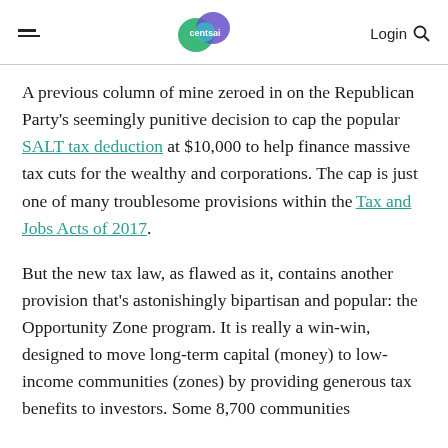centsai | Login
A previous column of mine zeroed in on the Republican Party's seemingly punitive decision to cap the popular SALT tax deduction at $10,000 to help finance massive tax cuts for the wealthy and corporations. The cap is just one of many troublesome provisions within the Tax and Jobs Acts of 2017.
But the new tax law, as flawed as it, contains another provision that's astonishingly bipartisan and popular: the Opportunity Zone program. It is really a win-win, designed to move long-term capital (money) to low-income communities (zones) by providing generous tax benefits to investors. Some 8,700 communities